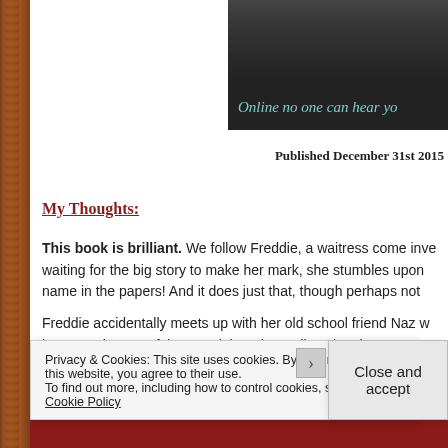[Figure (photo): Book cover image banner showing dark scene with text 'Online no one can hear yo' (truncated)]
Published December 31st 2015
My Thoughts:
This book is brilliant. We follow Freddie, a waitress come inve waiting for the big story to make her mark, she stumbles upon name in the papers! And it does just that, though perhaps not
Freddie accidentally meets up with her old school friend Naz w between the two of them and the other police, they have a rac online serial killer who has cleverly named himself @apolloyc
Privacy & Cookies: This site uses cookies. By continuing to use this website, you agree to their use.
To find out more, including how to control cookies, see here: Cookie Policy
Close and accept